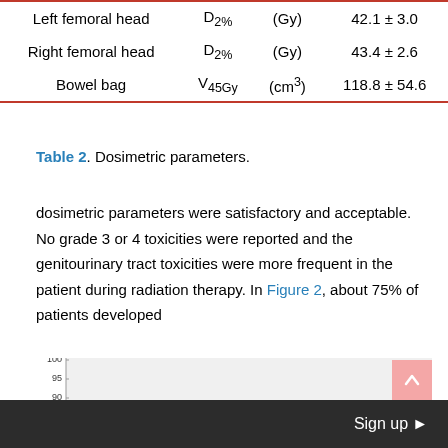| Structure | Parameter | Unit | Value |
| --- | --- | --- | --- |
| Left femoral head | D₂% | (Gy) | 42.1 ± 3.0 |
| Right femoral head | D₂% | (Gy) | 43.4 ± 2.6 |
| Bowel bag | V₃45Gy | (cm³) | 118.8 ± 54.6 |
Table 2. Dosimetric parameters.
dosimetric parameters were satisfactory and acceptable. No grade 3 or 4 toxicities were reported and the genitourinary tract toxicities were more frequent in the patient during radiation therapy. In Figure 2, about 75% of patients developed
[Figure (continuous-plot): GU Acute Toxicity chart with y-axis labeled from 55 to 100 in increments of 5. Title: GU Acute Toxicity. Background is light gray. Pink bar partially visible at bottom right.]
Sign up